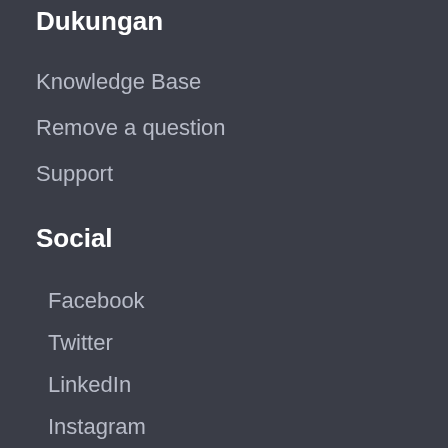Dukungan
Knowledge Base
Remove a question
Support
Social
Facebook
Twitter
LinkedIn
Instagram